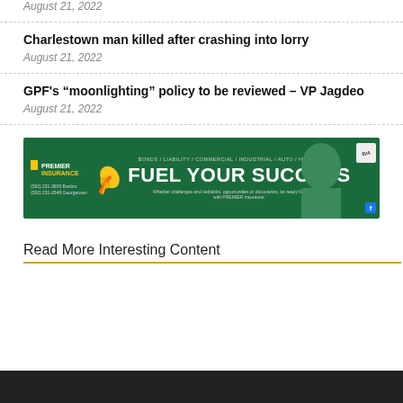August 21, 2022
Charlestown man killed after crashing into lorry
August 21, 2022
GPF's “moonlighting” policy to be reviewed – VP Jagdeo
August 21, 2022
[Figure (other): Premier Insurance advertisement banner with green background. Text: BONDS / LIABILITY / COMMERCIAL / INDUSTRIAL / AUTO / HOMEOWNERS. FUEL YOUR SUCCESS. Whether challenges and setbacks, opportunities or discoveries, be ready for the future, with PREMIER Insurance.]
Read More Interesting Content